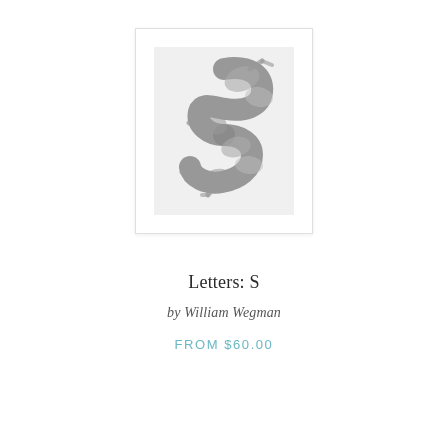[Figure (photo): A product card showing a photograph of dogs arranged in the shape of the letter S, black and white image on light gray background, inside a white card with subtle border.]
Letters: S
by William Wegman
FROM $60.00